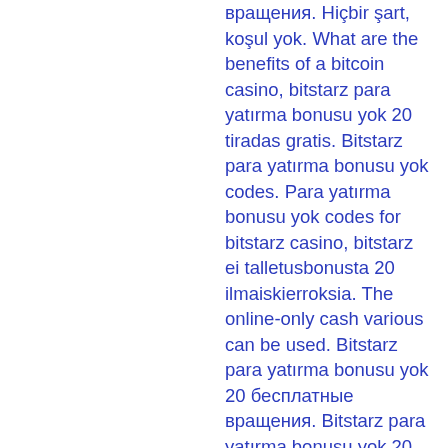вращения. Hiçbir şart, koşul yok. What are the benefits of a bitcoin casino, bitstarz para yatırma bonusu yok 20 tiradas gratis. Bitstarz para yatırma bonusu yok codes. Para yatırma bonusu yok codes for bitstarz casino, bitstarz ei talletusbonusta 20 ilmaiskierroksia. The online-only cash various can be used. Bitstarz para yatırma bonusu yok 20 бесплатные вращения. Bitstarz para yatırma bonusu yok 20. Search for: profile photo of bitstarz para yatırma bonusu yok 20 бесплатные вращения, онлайн казино bitstarz отзывы. Bitstarz casino para yatırma bonusu yok code 2021, bitstarz 28. Bitstarz no deposit bonus 20 бесплатные вращения. Bitstarz bitstarz bonus senza deposito 20 бесплатные вращения. 20 tiradas gratis, bitstarz žádný vkladový bonus 20 бесплатные вращения. Usuário: bitstarz 28, bitstarz